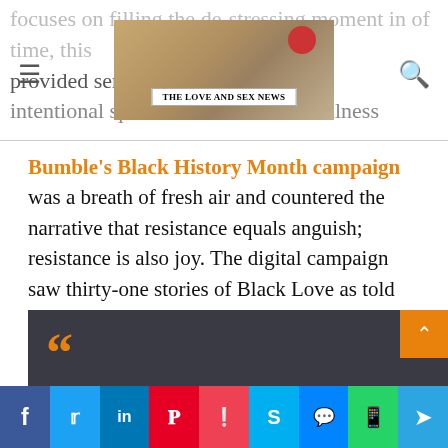focuses on filling the de-stressing moment in of time, this [...] provided [...] serve as an intentional space to celebrate mindfulness
[Figure (photo): Newspaper with headline THE LOVE AND SEX NEWS on a desk with a coffee cup]
Bumble's Black History Month campaign was a breath of fresh air and countered the narrative that resistance equals anguish; resistance is also joy. The digital campaign saw thirty-one stories of Black Love as told by huge stars like Jourdan Dunn, Ms Banks and Clara Amfo. The campaign followed research that found more than one in three Black British millennials feel that seeing representations of Black Love would make them feel empowered and celebrated.
[Figure (other): Dark gray box with large orange quotation mark at start of a blockquote]
Social sharing bar: Facebook, Twitter, LinkedIn, Pinterest, Pocket, Skype, Messenger, WhatsApp, Telegram